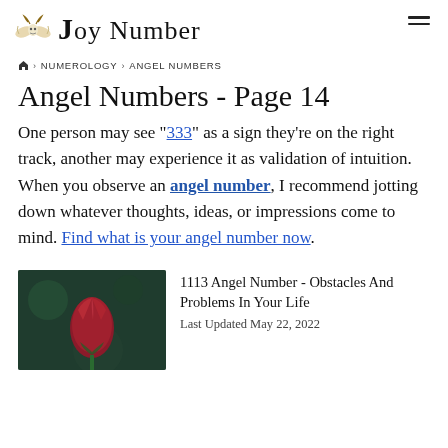Joy Number
Home › NUMEROLOGY › ANGEL NUMBERS
Angel Numbers - Page 14
One person may see "333" as a sign they're on the right track, another may experience it as validation of intuition. When you observe an angel number, I recommend jotting down whatever thoughts, ideas, or impressions come to mind. Find what is your angel number now.
[Figure (photo): Close-up photo of a red tulip bud against a dark green background]
1113 Angel Number - Obstacles And Problems In Your Life
Last Updated May 22, 2022